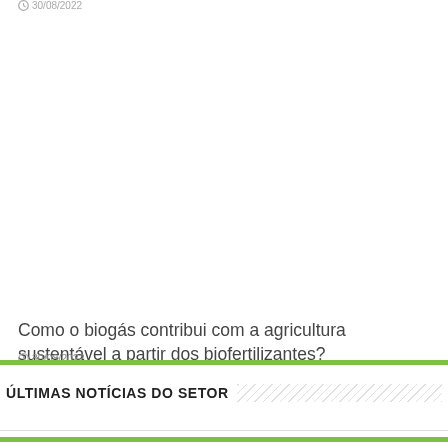30/08/2022
Como o biogás contribui com a agricultura sustentável a partir dos biofertilizantes?
30/08/2022
ÚLTIMAS NOTÍCIAS DO SETOR